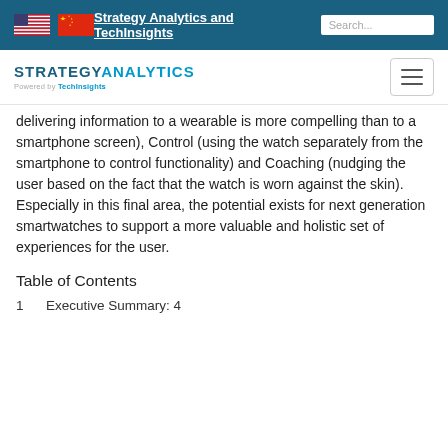Strategy Analytics and TechInsights
[Figure (logo): Strategy Analytics powered by TechInsights logo with hamburger menu icon]
delivering information to a wearable is more compelling than to a smartphone screen), Control (using the watch separately from the smartphone to control functionality) and Coaching (nudging the user based on the fact that the watch is worn against the skin). Especially in this final area, the potential exists for next generation smartwatches to support a more valuable and holistic set of experiences for the user.
Table of Contents
1      Executive Summary: 4